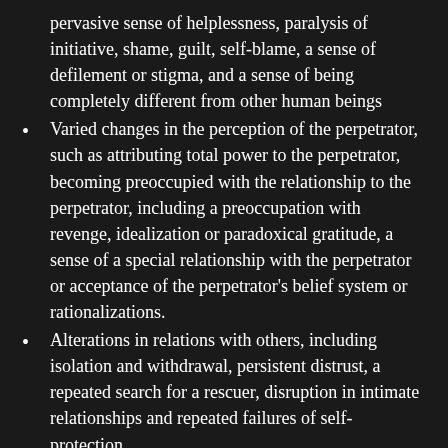pervasive sense of helplessness, paralysis of initiative, shame, guilt, self-blame, a sense of defilement or stigma, and a sense of being completely different from other human beings
Varied changes in the perception of the perpetrator, such as attributing total power to the perpetrator, becoming preoccupied with the relationship to the perpetrator, including a preoccupation with revenge, idealization or paradoxical gratitude, a sense of a special relationship with the perpetrator or acceptance of the perpetrator's belief system or rationalizations.
Alterations in relations with others, including isolation and withdrawal, persistent distrust, a repeated search for a rescuer, disruption in intimate relationships and repeated failures of self-protection.
Loss of, or changes in, one's system of meanings, which may include a loss of sustaining faith or a sense of hopelessness and despair.